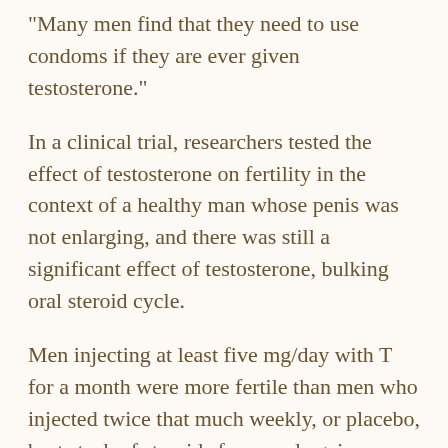"Many men find that they need to use condoms if they are ever given testosterone."
In a clinical trial, researchers tested the effect of testosterone on fertility in the context of a healthy man whose penis was not enlarging, and there was still a significant effect of testosterone, bulking oral steroid cycle.
Men injecting at least five mg/day with T for a month were more fertile than men who injected twice that much weekly, or placebo, best stack of steroids for muscle gain.
"What's more, even men in the low levels who were not sexually active could conceive a child if they were treated," says Dr. Aron.
It's also been thought that testosterone can reduce sperm counts, although more study is